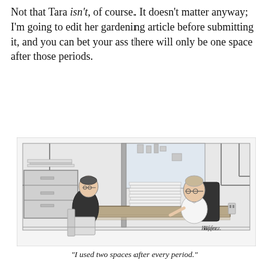Not that Tara isn't, of course. It doesn't matter anyway; I'm going to edit her gardening article before submitting it, and you can bet your ass there will only be one space after those periods.
[Figure (illustration): A cartoon showing two people in an office. A man sits across from a woman sitting behind a desk with a large stack of papers on it. Filing cabinets are visible in the background. The cartoon is signed 'Hafeez.' in the bottom right corner.]
"I used two spaces after every period."